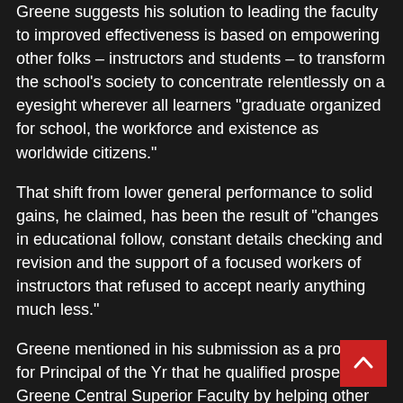Greene suggests his solution to leading the faculty to improved effectiveness is based on empowering other folks – instructors and students – to transform the school's society to concentrate relentlessly on a eyesight wherever all learners "graduate organized for school, the workforce and existence as worldwide citizens."
That shift from lower general performance to solid gains, he claimed, has been the result of "changes in educational follow, constant details checking and revision and the support of a focused workers of instructors that refused to accept nearly anything much less."
Greene mentioned in his submission as a prospect for Principal of the Yr that he qualified prospects Greene Central Superior Faculty by helping other folks lead.